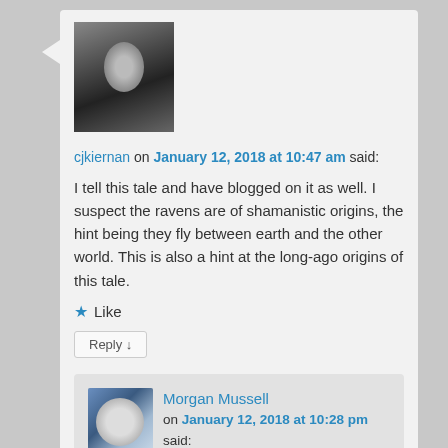[Figure (photo): Avatar photo of cjkiernan — elderly man with white hair, pointing finger, dark background]
cjkiernan on January 12, 2018 at 10:47 am said:
I tell this tale and have blogged on it as well. I suspect the ravens are of shamanistic origins, the hint being they fly between earth and the other world. This is also a hint at the long-ago origins of this tale.
Like
Reply ↓
[Figure (photo): Avatar photo of Morgan Mussell — person with Snoopy plush toy]
Morgan Mussell on January 12, 2018 at 10:28 pm said:
Your comment brings Odin and his Ravens